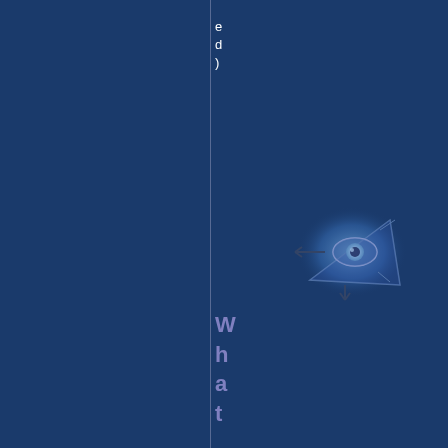ed)
[Figure (logo): A small illustrated logo showing an eye or face inside a triangular shape with arrow-like elements, rendered in blue tones against the dark blue background.]
What are w